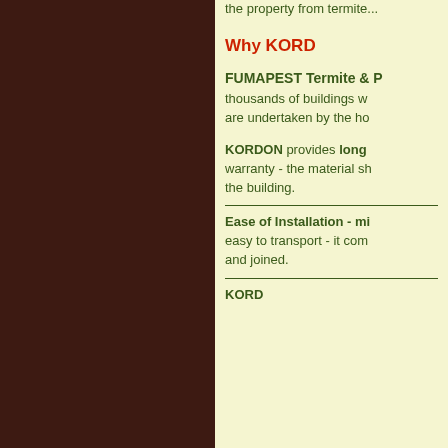the property from termite...
Why KORD...
FUMAPEST Termite & P... thousands of buildings w... are undertaken by the ho...
KORDON provides long warranty - the material sh... the building.
Ease of Installation - mi... easy to transport - it com... and joined.
KORD...